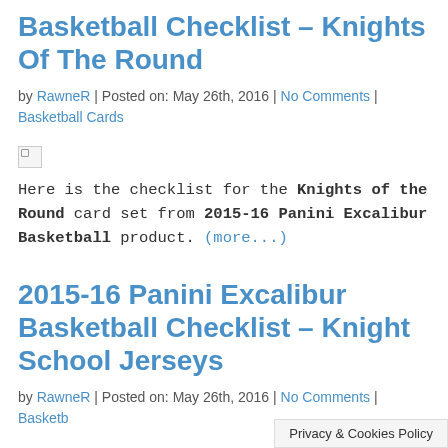Basketball Checklist – Knights Of The Round
by RawneR | Posted on: May 26th, 2016 | No Comments | Basketball Cards
[Figure (photo): Broken image placeholder]
Here is the checklist for the Knights of the Round card set from 2015-16 Panini Excalibur Basketball product. (more...)
2015-16 Panini Excalibur Basketball Checklist – Knight School Jerseys
by RawneR | Posted on: May 26th, 2016 | No Comments | Basketb...
Privacy & Cookies Policy